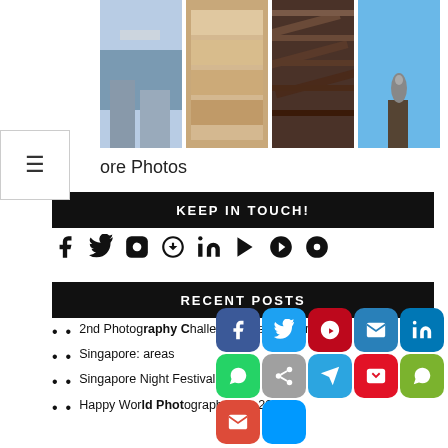[Figure (photo): Four thumbnail photos in a row: city skyline, apartment buildings, rooftop/beams, bird on rooftop against blue sky]
ore Photos
KEEP IN TOUCH!
[Figure (infographic): Social media icons row: Facebook, Twitter, Instagram, Pinterest, LinkedIn, YouTube, Google+, Flickr]
RECENT POSTS
2nd Photography Challenge Final and Draft
Singapore: ... areas
Singapore Night Festival 2022 is back!
Happy World Photography Day 2022!
[Figure (screenshot): Social share buttons overlay: Facebook, Twitter, Pinterest, Email, LinkedIn (row 1); WhatsApp, Copy, Telegram, Flipboard, WeChat (row 2); Gmail, More (row 3)]